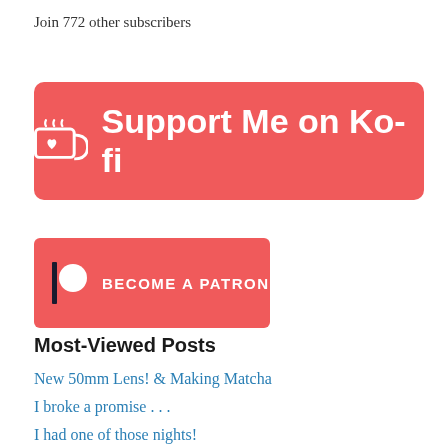Join 772 other subscribers
[Figure (other): Ko-fi support button — red/coral rounded rectangle with cup icon and text 'Support Me on Ko-fi']
[Figure (other): Patreon button — red/coral rounded rectangle with Patreon logo and text 'BECOME A PATRON']
Most-Viewed Posts
New 50mm Lens! & Making Matcha
I broke a promise . . .
I had one of those nights!
How to be a…